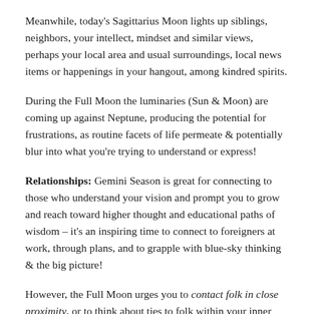Meanwhile, today's Sagittarius Moon lights up siblings, neighbors, your intellect, mindset and similar views, perhaps your local area and usual surroundings, local news items or happenings in your hangout, among kindred spirits.
During the Full Moon the luminaries (Sun & Moon) are coming up against Neptune, producing the potential for frustrations, as routine facets of life permeate & potentially blur into what you're trying to understand or express!
Relationships: Gemini Season is great for connecting to those who understand your vision and prompt you to grow and reach toward higher thought and educational paths of wisdom – it's an inspiring time to connect to foreigners at work, through plans, and to grapple with blue-sky thinking & the big picture!
However, the Full Moon urges you to contact folk in close proximity, or to think about ties to folk within your inner circle. You might be aware of what you have in common with people around you, in your family, neighborhood or place of work, even your